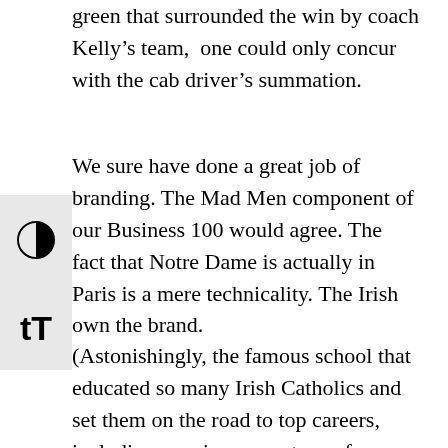green that surrounded the win by coach Kelly's team, one could only concur with the cab driver's summation.
We sure have done a great job of branding. The Mad Men component of our Business 100 would agree. The fact that Notre Dame is actually in Paris is a mere technicality. The Irish own the brand.
(Astonishingly, the famous school that educated so many Irish Catholics and set them on the road to top careers, including a major percentage of our Business 100, didn't have an Irish Studies program until our Irish America Hall of Fame honoree Ronald Macarron did it